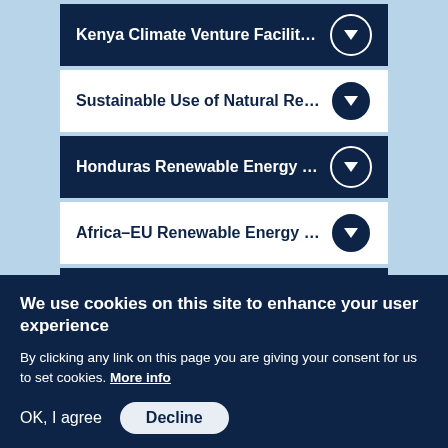Kenya Climate Venture Facility (KCV)
Sustainable Use of Natural Resources and En
Honduras Renewable Energy Financing Facil
Africa–EU Renewable Energy Cooperation Pr
Indiegogo
Africa50 Infrastructure Fund
We use cookies on this site to enhance your user experience
By clicking any link on this page you are giving your consent for us to set cookies. More info
OK, I agree   Decline